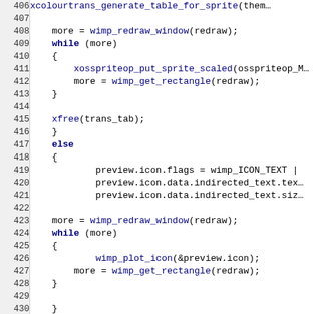[Figure (screenshot): Source code listing in C showing lines 406-436, featuring WIMP/RISC OS GUI code with functions like wimp_redraw_window, xosspriteop_put_sprite_scaled, wimp_get_rectangle, xfree, wimp_plot_icon, and set_theme_choices. Syntax highlighting with keywords in bold dark blue and function names in blue.]